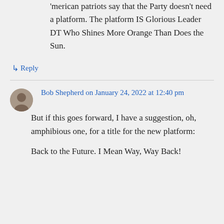'merican patriots say that the Party doesn't need a platform. The platform IS Glorious Leader DT Who Shines More Orange Than Does the Sun.
↳ Reply
Bob Shepherd on January 24, 2022 at 12:40 pm
But if this goes forward, I have a suggestion, oh, amphibious one, for a title for the new platform:
Back to the Future. I Mean Way, Way Back!